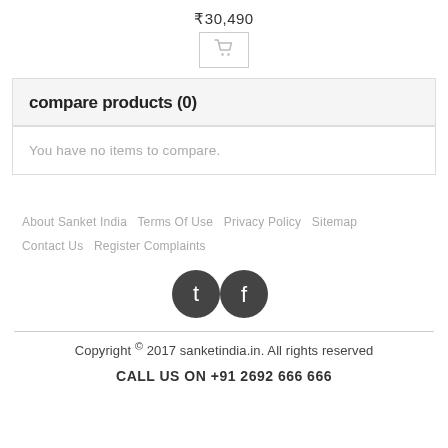₹30,490
[Figure (other): Shopping cart icon button]
compare products (0)
You have no items to compare.
About Sanket India  Terms Of Use  Privacy Policy  Sitemap  Contact Us  Register Complaints
[Figure (other): Twitter and Facebook social media icons]
Copyright © 2017 sanketindia.in. All rights reserved
CALL US ON +91 2692 666 666